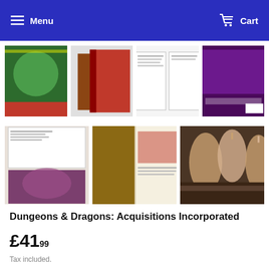Menu  Cart
[Figure (photo): Row of four product thumbnail images showing book covers and interior pages of Dungeons & Dragons: Acquisitions Incorporated]
[Figure (photo): Row of three product thumbnail images showing interior pages and a photo of people playing D&D]
Dungeons & Dragons: Acquisitions Incorporated
£41.99
Tax included.
Quantity
1